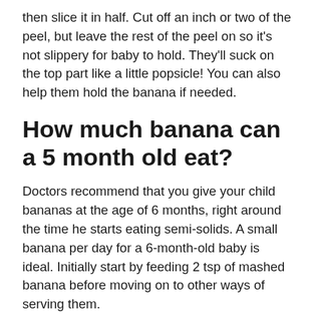then slice it in half. Cut off an inch or two of the peel, but leave the rest of the peel on so it's not slippery for baby to hold. They'll suck on the top part like a little popsicle! You can also help them hold the banana if needed.
How much banana can a 5 month old eat?
Doctors recommend that you give your child bananas at the age of 6 months, right around the time he starts eating semi-solids. A small banana per day for a 6-month-old baby is ideal. Initially start by feeding 2 tsp of mashed banana before moving on to other ways of serving them.